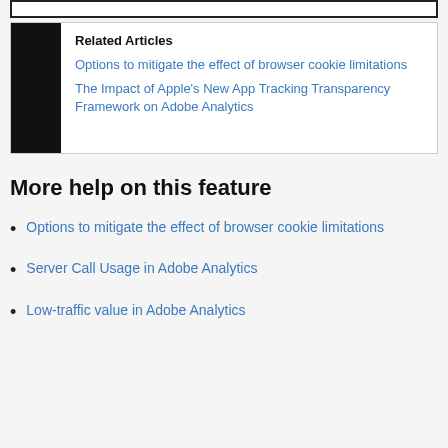[Figure (other): Top decorative bar element with border]
Related Articles
Options to mitigate the effect of browser cookie limitations
The Impact of Apple’s New App Tracking Transparency Framework on Adobe Analytics
More help on this feature
Options to mitigate the effect of browser cookie limitations
Server Call Usage in Adobe Analytics
Low-traffic value in Adobe Analytics